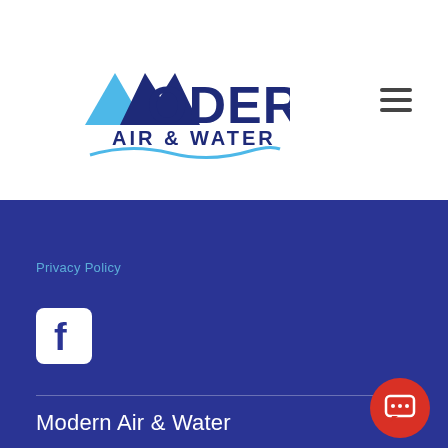[Figure (logo): Modern Air & Water company logo with mountain/M icon in blue and wave underline]
Privacy Policy
[Figure (illustration): Facebook social media icon - white F on blue rounded square background]
Modern Air & Water